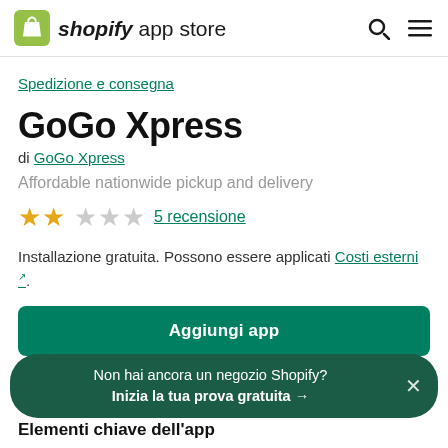shopify app store
Spedizione e consegna
GoGo Xpress
di GoGo Xpress
Affordable nationwide pickup and delivery
★★☆☆☆ 5 recensione
Installazione gratuita. Possono essere applicati Costi esterni.
Aggiungi app
Non hai ancora un negozio Shopify?
Inizia la tua prova gratuita →
Elementi chiave dell'app